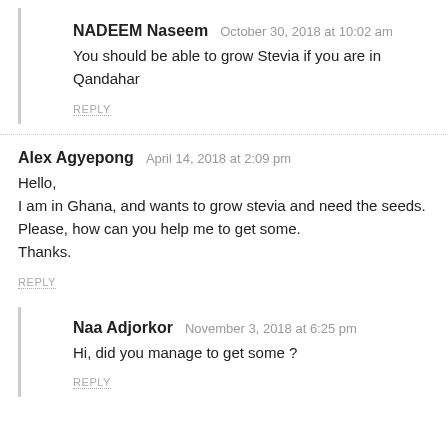NADEEM Naseem  October 30, 2018 at 10:02 am
You should be able to grow Stevia if you are in Qandahar
REPLY
Alex Agyepong  April 14, 2018 at 2:09 pm
Hello,
I am in Ghana, and wants to grow stevia and need the seeds.
Please, how can you help me to get some.
Thanks.
REPLY
Naa Adjorkor  November 3, 2018 at 6:25 pm
Hi, did you manage to get some ?
REPLY